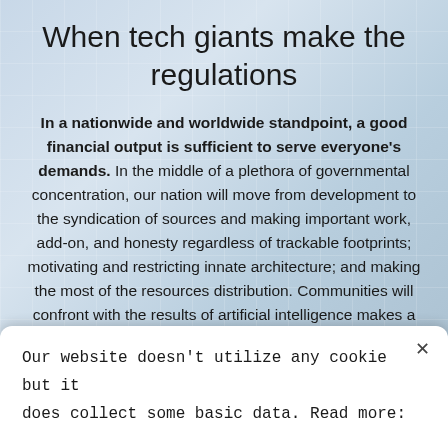When tech giants make the regulations
In a nationwide and worldwide standpoint, a good financial output is sufficient to serve everyone's demands. In the middle of a plethora of governmental concentration, our nation will move from development to the syndication of sources and making important work, add-on, and honesty regardless of trackable footprints; motivating and restricting innate architecture; and making the most of the resources distribution. Communities will confront with the results of artificial intelligence makes a number of jobs redundant while the people who have performed them will be living considerably longer lives.
Our website doesn't utilize any cookie but it does collect some basic data. Read more: